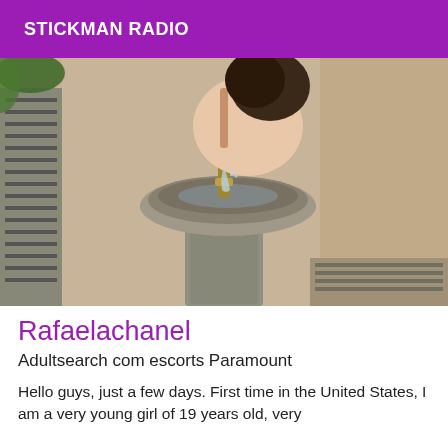STICKMAN RADIO
[Figure (photo): A person drinking from an outdoor stone water fountain, photographed from behind/side angle. Sandy ground visible in the background.]
Rafaelachanel
Adultsearch com escorts Paramount
Hello guys, just a few days. First time in the United States, I am a very young girl of 19 years old, very